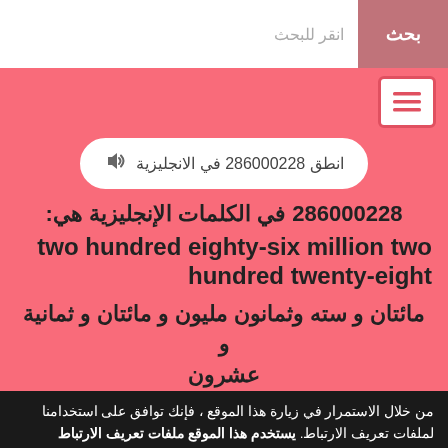انقر للبحث | بحث
انطق 286000228 في الانجليزية 🔊
286000228 في الكلمات الإنجليزية هي:
two hundred eighty-six million two hundred twenty-eight
مائتان و سته وثمانون مليون و مائتان و ثمانية و عشرون
من خلال الاستمرار في زيارة هذا الموقع ، فإنك توافق على استخدامنا لملفات تعريف الارتباط. يستخدم هذا الموقع ملفات تعريف الارتباط لتحسين تجربتك.
اقرأ سياسة ملفات تعريف الارتباط الخاصة بنا | فهمتك